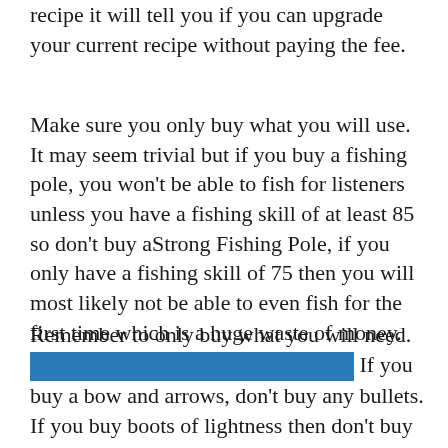recipe it will tell you if you can upgrade your current recipe without paying the fee.
Make sure you only buy what you will use. It may seem trivial but if you buy a fishing pole, you won't be able to fish for listeners unless you have a fishing skill of at least 85 so don't buy aStrong Fishing Pole, if you only have a fishing skill of 75 then you will most likely not be able to even fish for the first time which is a huge waste of money.
Remember to only buy what you will need. [redacted link] If you buy a bow and arrows, don't buy any bullets. If you buy boots of lightness then don't buy any lightness